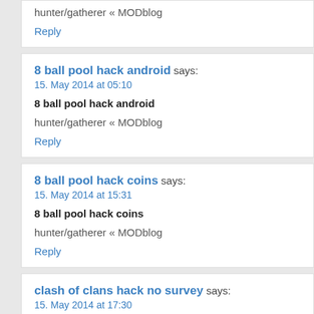hunter/gatherer « MODblog
Reply
8 ball pool hack android says:
15. May 2014 at 05:10
8 ball pool hack android
hunter/gatherer « MODblog
Reply
8 ball pool hack coins says:
15. May 2014 at 15:31
8 ball pool hack coins
hunter/gatherer « MODblog
Reply
clash of clans hack no survey says:
15. May 2014 at 17:30
clash of clans hack no survey
hunter/gatherer « MODblog
Reply